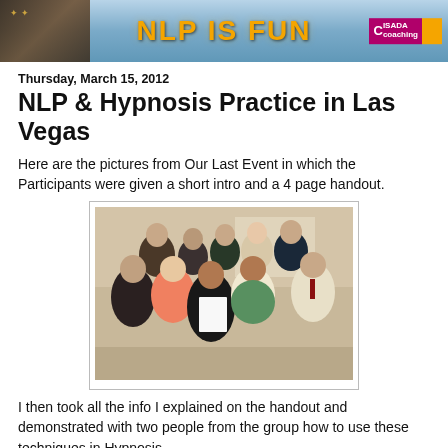NLP IS FUN
Thursday, March 15, 2012
NLP & Hypnosis Practice in Las Vegas
Here are the pictures from Our Last Event in which the Participants were given a short intro and a 4 page handout.
[Figure (photo): Group photo of NLP & Hypnosis Practice event participants in Las Vegas, showing approximately 12 people posing together in a room.]
I then took all the info I explained on the handout and demonstrated with two people from the group how to use these techniques in Hypnosis.